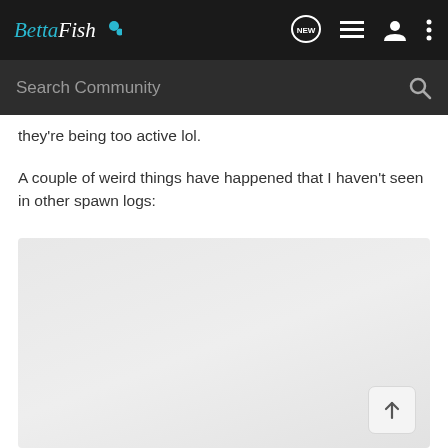BettaFish — navigation bar with logo, NEW chat icon, list icon, profile icon, and more icon
Search Community
they're being too active lol.
A couple of weird things have happened that I haven't seen in other spawn logs:
[Figure (photo): Light gray placeholder image area below the text content]